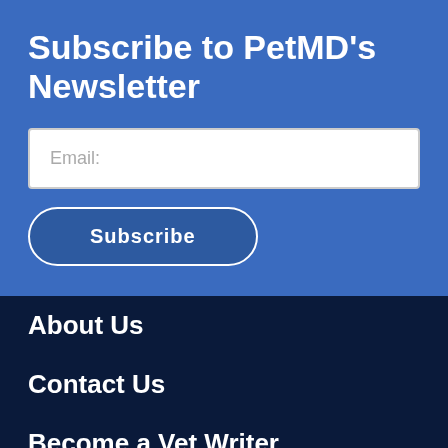Subscribe to PetMD's Newsletter
Email:
Subscribe
About Us
Contact Us
Become a Vet Writer
BeChewy
Legal Notices